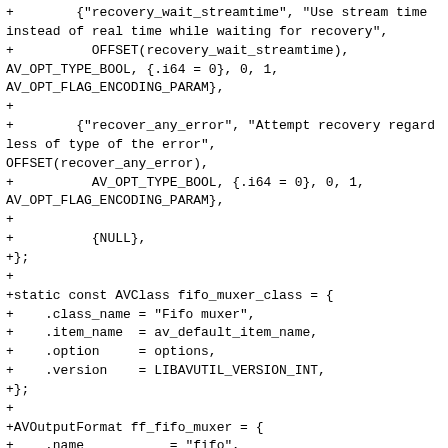+        {"recovery_wait_streamtime", "Use stream time instead of real time while waiting for recovery",
+          OFFSET(recovery_wait_streamtime),
AV_OPT_TYPE_BOOL, {.i64 = 0}, 0, 1,
AV_OPT_FLAG_ENCODING_PARAM},
+
+        {"recover_any_error", "Attempt recovery regardless of type of the error",
OFFSET(recover_any_error),
+          AV_OPT_TYPE_BOOL, {.i64 = 0}, 0, 1,
AV_OPT_FLAG_ENCODING_PARAM},
+
+          {NULL},
+};
+
+static const AVClass fifo_muxer_class = {
+    .class_name = "Fifo muxer",
+    .item_name  = av_default_item_name,
+    .option     = options,
+    .version    = LIBAVUTIL_VERSION_INT,
+};
+
+AVOutputFormat ff_fifo_muxer = {
+    .name           = "fifo",
+    .long_name      = NULL_IF_CONFIG_SMALL("FIFO queue pseudo-muxer"),
+    .priv_data_size = sizeof(FifoContext),
+    .init           = fifo_init,
+    .write_header   = fifo_write_header,
+    .write_packet   = fifo_write_packet,